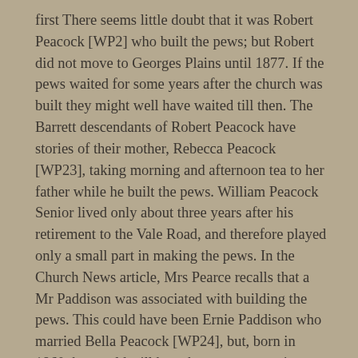first There seems little doubt that it was Robert Peacock [WP2] who built the pews; but Robert did not move to Georges Plains until 1877. If the pews waited for some years after the church was built they might well have waited till then. The Barrett descendants of Robert Peacock have stories of their mother, Rebecca Peacock [WP23], taking morning and afternoon tea to her father while he built the pews. William Peacock Senior lived only about three years after his retirement to the Vale Road, and therefore played only a small part in making the pews. In the Church News article, Mrs Pearce recalls that a Mr Paddison was associated with building the pews. This could have been Ernie Paddison who married Bella Peacock [WP24], but, born in 1860, he would still have been a teenager in 1877. Perhaps some of the pews were built later than that date. William Peacock Junior [WP7] was by now a Wesleyan after his marriage to Ann Hamer, and his loyalties lay at the Vale Road Wesleyan Church, but he could well have lent a hand, since there is evidence in the subscription lists that Ann's father Andrew Hamer supported the building of St John's